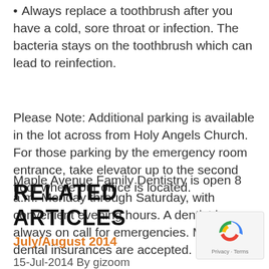• Always replace a toothbrush after you have a cold, sore throat or infection. The bacteria stays on the toothbrush which can lead to reinfection.
Please Note: Additional parking is available in the lot across from Holy Angels Church. For those parking by the emergency room entrance, take elevator up to the second floor where our office is located.
Maple Avenue Family Dentistry is open 8 a.m. Monday through Saturday, with convenient evening hours. A dentist is always on call for emergencies. Most dental insurances are accepted.
RELATED ARTICLES
July/August 2014
15-Jul-2014 By gizoom